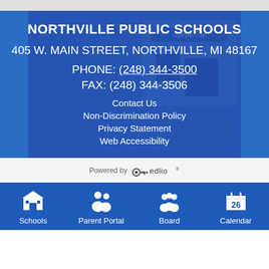NORTHVILLE PUBLIC SCHOOLS
405 W. MAIN STREET, NORTHVILLE, MI 48167
PHONE: (248) 344-3500
FAX: (248) 344-3506
Contact Us
Non-Discrimination Policy
Privacy Statement
Web Accessibility
[Figure (logo): Powered by edlio logo]
Schools  Parent Portal  Board  Calendar